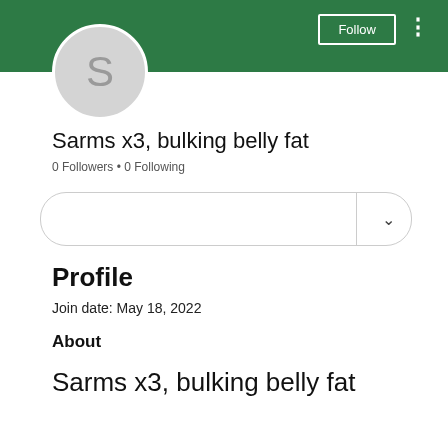[Figure (screenshot): Green header banner with Follow button and three-dot menu on the right]
[Figure (illustration): Circular avatar placeholder with letter S on grey background]
Sarms x3, bulking belly fat
0 Followers • 0 Following
[Figure (screenshot): Dropdown selection bar with chevron and divider]
Profile
Join date: May 18, 2022
About
Sarms x3, bulking belly fat